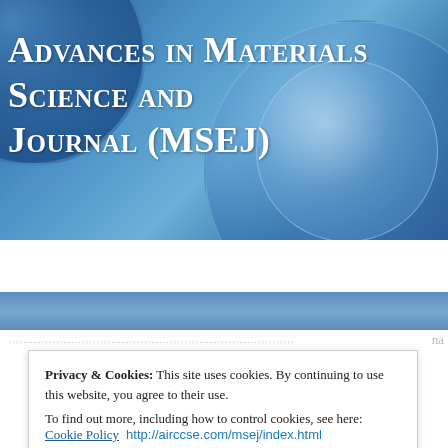[Figure (screenshot): Header banner of Advances in Materials Science and Engineering Journal (MSEJ) website with blue metallic lens/circle background imagery]
Advances in Materials Science and Journal (MSEJ)
[Figure (screenshot): Navigation bar with HOME (dark background) and CURRENT ISSUE tabs]
Privacy & Cookies: This site uses cookies. By continuing to use this website, you agree to their use.
To find out more, including how to control cookies, see here: Cookie Policy
Close and accept
http://airccse.com/msej/index.html